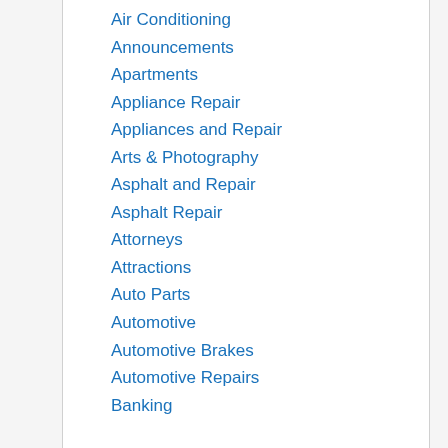Air Conditioning
Announcements
Apartments
Appliance Repair
Appliances and Repair
Arts & Photography
Asphalt and Repair
Asphalt Repair
Attorneys
Attractions
Auto Parts
Automotive
Automotive Brakes
Automotive Repairs
Banking